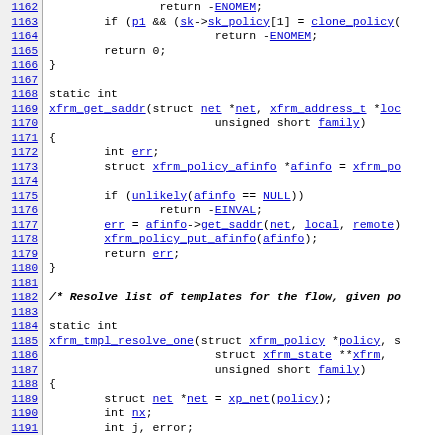[Figure (screenshot): Source code viewer showing C kernel networking code (xfrm policy functions) with line numbers 1162-1191, monospace font, hyperlinked identifiers in blue underline.]